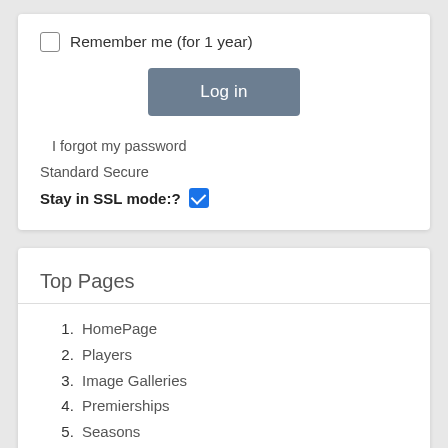Remember me (for 1 year)
Log in
I forgot my password
Standard Secure
Stay in SSL mode:?
Top Pages
1. HomePage
2. Players
3. Image Galleries
4. Premierships
5. Seasons
6. 2019 Playing List
7. Locker Room
8. Emblems and Tradition
9. Formation of the Club
10. Guernsey History
11. Pre VFL Players
12. The National Draft